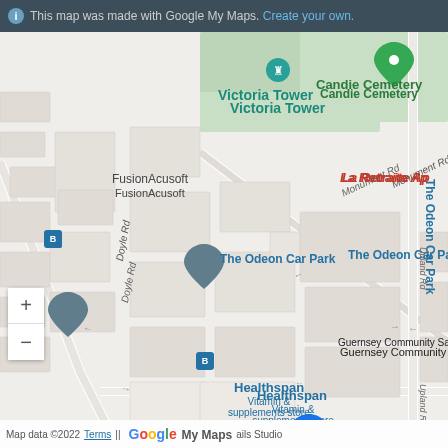This map was made with Google My Maps. Create your own.
[Figure (map): Google My Maps screenshot showing streets around Guernsey Community Savings location in St Peter Port, Guernsey. Key landmarks include Victoria Tower, Candie Cemetery, The Odeon Car Park, FusionAcusoft, Healthspan Vitamin & supplements store, First Intuition Guernsey Limited, Investec Accounting, La Retraite Ap, La Grange, Rootz Hair & Nails Studio. Streets: Doyle Rd, Monument Rd, Upland Rd, Vauxhall Rd. Map pin for Guernsey Community Savings is shown as orange pin at The Odeon Car Park.]
Map data ©2022 Terms  Google My Maps